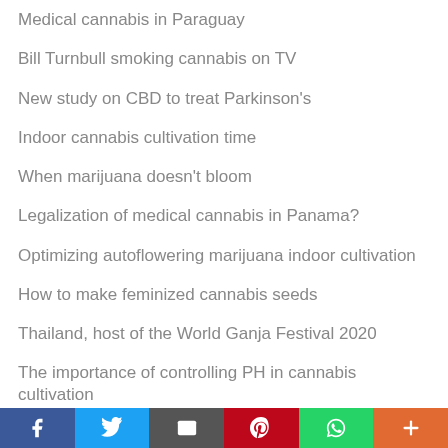Medical cannabis in Paraguay
Bill Turnbull smoking cannabis on TV
New study on CBD to treat Parkinson's
Indoor cannabis cultivation time
When marijuana doesn't bloom
Legalization of medical cannabis in Panama?
Optimizing autoflowering marijuana indoor cultivation
How to make feminized cannabis seeds
Thailand, host of the World Ganja Festival 2020
The importance of controlling PH in cannabis cultivation
f  twitter  email  pinterest  whatsapp  +